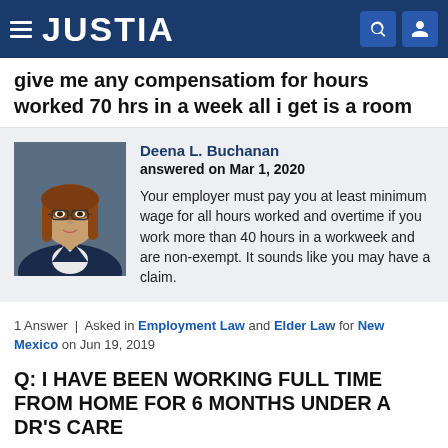JUSTIA
give me any compensatiom for hours worked 70 hrs in a week all i get is a room
[Figure (photo): Professional headshot of attorney Deena L. Buchanan, a woman with brown hair and glasses wearing a dark blazer]
Deena L. Buchanan
answered on Mar 1, 2020
Your employer must pay you at least minimum wage for all hours worked and overtime if you work more than 40 hours in a workweek and are non-exempt. It sounds like you may have a claim.
1 Answer | Asked in Employment Law and Elder Law for New Mexico on Jun 19, 2019
Q: I HAVE BEEN WORKING FULL TIME FROM HOME FOR 6 MONTHS UNDER A DR'S CARE